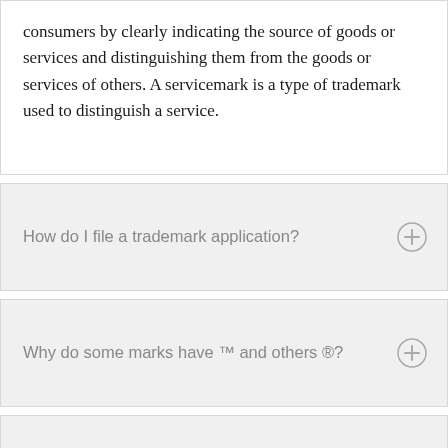consumers by clearly indicating the source of goods or services and distinguishing them from the goods or services of others. A servicemark is a type of trademark used to distinguish a service.
How do I file a trademark application?
Why do some marks have ™ and others ®?
How long does it take to get a registered trademark?
How long is a trademark good for?